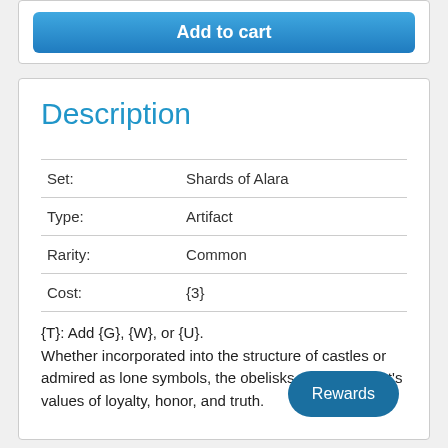[Figure (other): Blue 'Add to cart' button at top of card]
Description
| Set: | Shards of Alara |
| Type: | Artifact |
| Rarity: | Common |
| Cost: | {3} |
{T}: Add {G}, {W}, or {U}.
Whether incorporated into the structure of castles or admired as lone symbols, the obelisks stand for Bant's values of loyalty, honor, and truth.
[Figure (other): Rewards button (dark blue rounded pill button)]